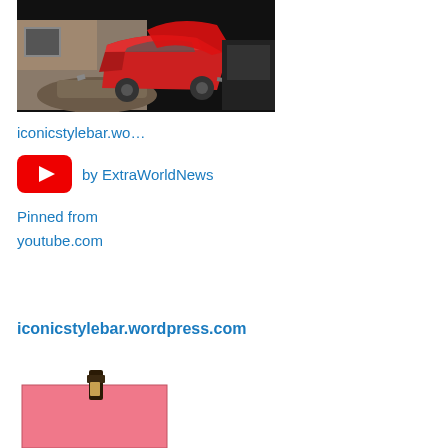[Figure (photo): Crashed/destroyed red car wreckage near a damaged building, dark background]
iconicstylebar.wo…
[Figure (logo): YouTube red play button logo icon]
by ExtraWorldNews
Pinned from
youtube.com
iconicstylebar.wordpress.com
[Figure (photo): Partial image at bottom showing a pink/salmon colored card or book with a dark object on top, against a white background]